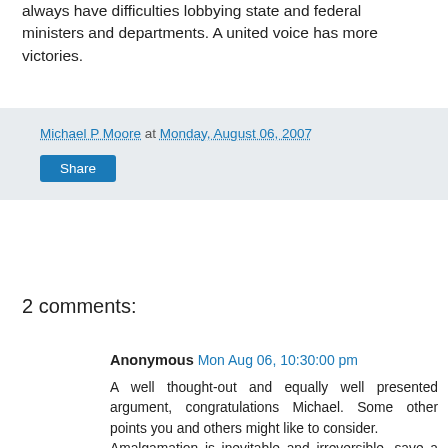always have difficulties lobbying state and federal ministers and departments. A united voice has more victories.
Michael P Moore at Monday, August 06, 2007
Share
2 comments:
Anonymous Mon Aug 06, 10:30:00 pm
A well thought-out and equally well presented argument, congratulations Michael. Some other points you and others might like to consider.
Amalgamation is inevitable and irreversible, save a class action taking place that is.
The incumbent for Cairns, Kevin Byrnes has stated “he's up for the challenge”? He has not stated that he will, in any way, shape or form arrest from his current “Developer's Rule” attitude. He has in all his time in the job NOT done anything of substance to help protect or ensure the sustainability of the environment. (Sorry, Council have just